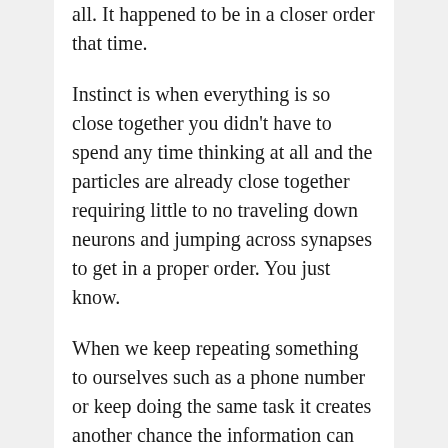all. It happened to be in a closer order that time.
Instinct is when everything is so close together you didn't have to spend any time thinking at all and the particles are already close together requiring little to no traveling down neurons and jumping across synapses to get in a proper order. You just know.
When we keep repeating something to ourselves such as a phone number or keep doing the same task it creates another chance the information can arrive back in a proper order quicker. Every time you repeat the phone number to yourself your brain changes the order and state of the particles in your brain. This keeps going